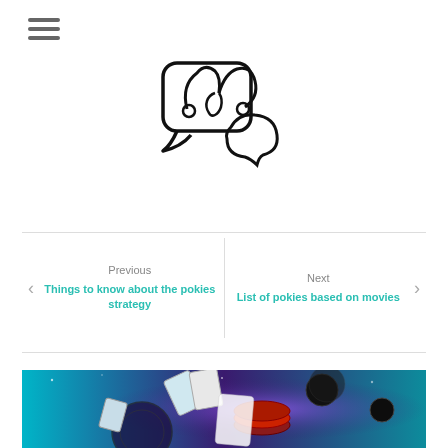[Figure (logo): Hamburger menu icon with three horizontal bars]
[Figure (logo): Joker/jester hat chat bubble logo icon in outline style]
Previous
Things to know about the pokies strategy
Next
List of pokies based on movies
[Figure (photo): Casino themed image with playing cards, poker chips, roulette wheel on teal/purple glowing background]